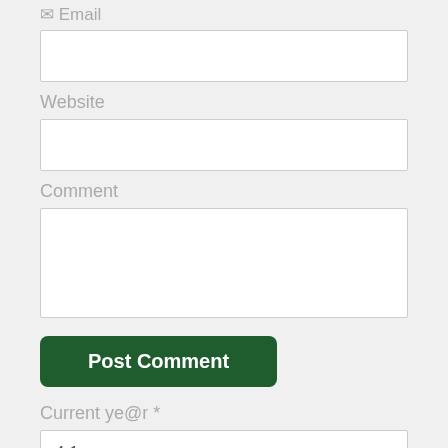Email
[Figure (screenshot): Empty email input text field]
Website
[Figure (screenshot): Empty website input text field]
Comment
[Figure (screenshot): Empty comment textarea]
Post Comment
Current ye@r *
4.1